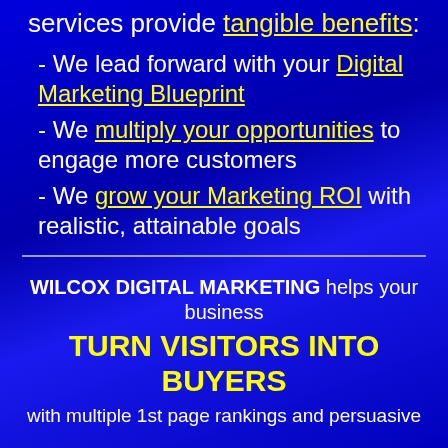services provide tangible benefits:
- We lead forward with your Digital Marketing Blueprint
- We multiply your opportunities to engage more customers
- We grow your Marketing ROI with realistic, attainable goals
WILCOX DIGITAL MARKETING helps your business
TURN VISITORS INTO BUYERS
with multiple 1st page rankings and persuasive